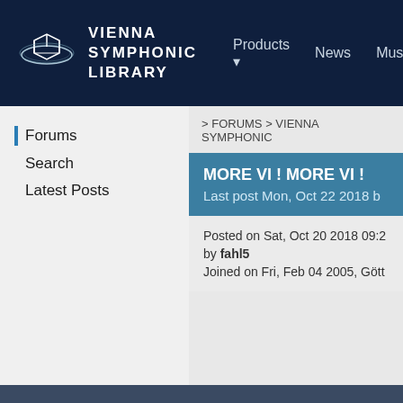VIENNA SYMPHONIC LIBRARY — Products, News, Music
Forums
Search
Latest Posts
> FORUMS > VIENNA SYMPHONIC
MORE VI ! MORE VI !
Last post Mon, Oct 22 2018 b
Posted on Sat, Oct 20 2018 09:2
by fahl5
Joined on Fri, Feb 04 2005, Gött
This website uses cookies to enable you to place o
By continuing to browse you are agreeing
Essential   Statistics